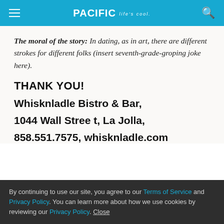PACIFIC Life's cool.
The moral of the story: In dating, as in art, there are different strokes for different folks (insert seventh-grade-groping joke here).
THANK YOU!
Whisknladle Bistro & Bar,
1044 Wall Stree t, La Jolla,
858.551.7575, whisknladle.com
By continuing to use our site, you agree to our Terms of Service and Privacy Policy. You can learn more about how we use cookies by reviewing our Privacy Policy. Close